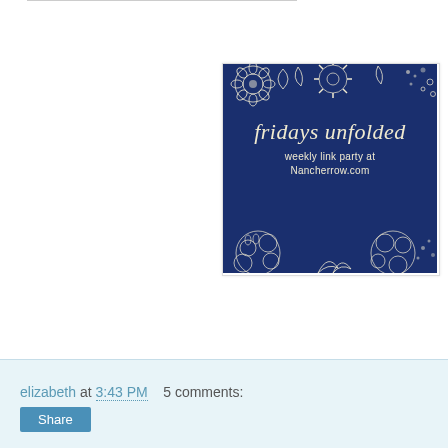[Figure (illustration): Blog badge for 'fridays unfolded' weekly link party at Nancherrow.com. Dark navy blue background with white floral/botanical patterns at top and bottom. White cursive text reads 'fridays unfolded' with smaller text 'weekly link party at Nancherrow.com'.]
elizabeth at 3:43 PM    5 comments: